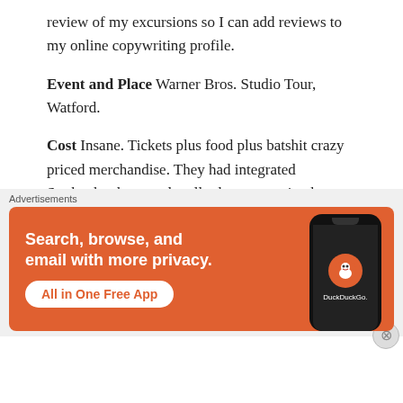review of my excursions so I can add reviews to my online copywriting profile.
Event and Place Warner Bros. Studio Tour, Watford.
Cost Insane. Tickets plus food plus batshit crazy priced merchandise. They had integrated Starbucks shops and really decent catering but a lot of people had taken picnics. Do that and spend a fiver on Butterbeer, which is foul.
Food See above. Plus nothing I ate made me puke, which was good.
[Figure (infographic): DuckDuckGo advertisement banner: orange background with text 'Search, browse, and email with more privacy. All in One Free App' and a phone showing the DuckDuckGo logo on the right side.]